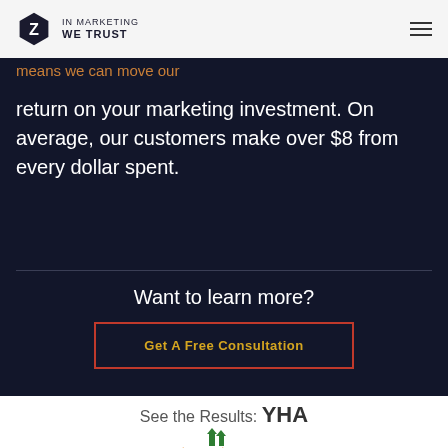IN MARKETING WE TRUST
means we can move our return on your marketing investment. On average, our customers make over $8 from every dollar spent.
Want to learn more?
Get A Free Consultation
See the Results: YHA
[Figure (logo): YHA logo partially visible at bottom of page — orange and green circular emblem with trees and house]